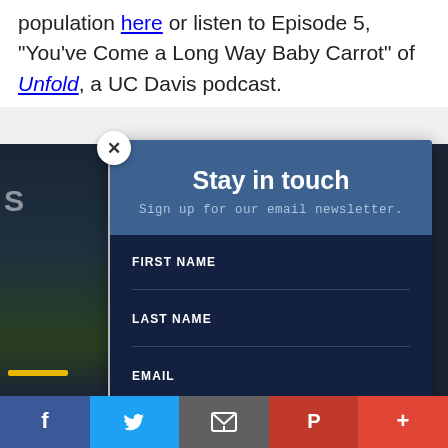population here or listen to Episode 5, "You've Come a Long Way Baby Carrot" of Unfold, a UC Davis podcast.
[Figure (screenshot): Background image of a person outdoors, partially visible on left side]
Stay in touch
Sign up for our email newsletter.
FIRST NAME
LAST NAME
EMAIL
Add me to your mailing list
[Figure (screenshot): Social sharing bar with Facebook, Twitter, Email, Pinterest, and More icons at the bottom of the page]